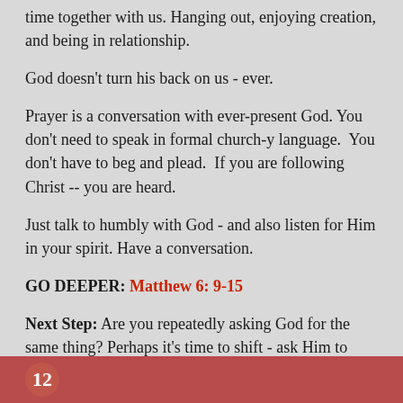time together with us. Hanging out, enjoying creation, and being in relationship.
God doesn't turn his back on us - ever.
Prayer is a conversation with ever-present God. You don't need to speak in formal church-y language.  You don't have to beg and plead.  If you are following Christ -- you are heard.
Just talk to humbly with God - and also listen for Him in your spirit. Have a conversation.
GO DEEPER: Matthew 6: 9-15
Next Step: Are you repeatedly asking God for the same thing? Perhaps it's time to shift - ask Him to help you see His response.
12